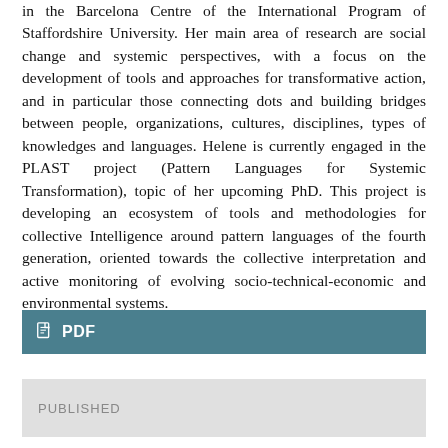in the Barcelona Centre of the International Program of Staffordshire University. Her main area of research are social change and systemic perspectives, with a focus on the development of tools and approaches for transformative action, and in particular those connecting dots and building bridges between people, organizations, cultures, disciplines, types of knowledges and languages. Helene is currently engaged in the PLAST project (Pattern Languages for Systemic Transformation), topic of her upcoming PhD. This project is developing an ecosystem of tools and methodologies for collective Intelligence around pattern languages of the fourth generation, oriented towards the collective interpretation and active monitoring of evolving socio-technical-economic and environmental systems.
[Figure (other): PDF download button bar with teal/blue-grey background, document icon and bold 'PDF' label in white]
[Figure (other): Published status box with light grey background and 'PUBLISHED' label in grey uppercase letters]